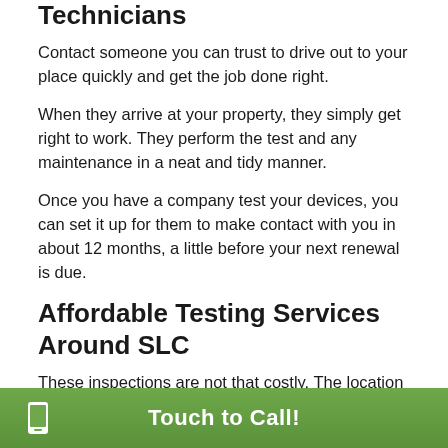Technicians
Contact someone you can trust to drive out to your place quickly and get the job done right.
When they arrive at your property, they simply get right to work. They perform the test and any maintenance in a neat and tidy manner.
Once you have a company test your devices, you can set it up for them to make contact with you in about 12 months, a little before your next renewal is due.
Affordable Testing Services Around SLC
These inspections are not that costly. The location of your assembly may affect your price.
Your invoice will not be costly as long as your supply
Touch to Call!